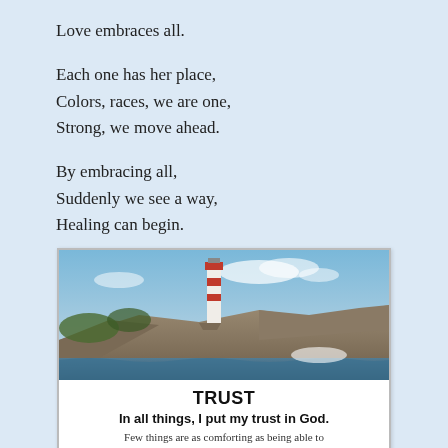Love embraces all.
Each one has her place,
Colors, races, we are one,
Strong, we move ahead.
By embracing all,
Suddenly we see a way,
Healing can begin.
[Figure (photo): Lighthouse on rocky coast with blue sky and ocean waves]
TRUST
In all things, I put my trust in God.
Few things are as comforting as being able to